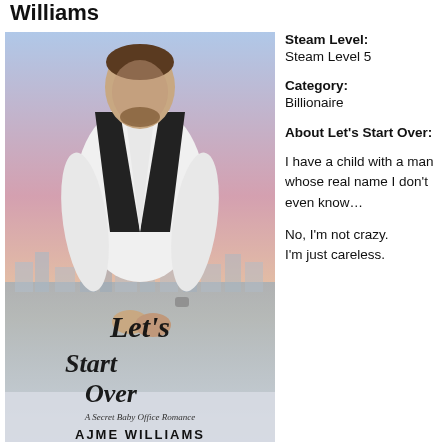Williams
[Figure (photo): Book cover of 'Let's Start Over – A Secret Baby Office Romance' by Ajme Williams, showing a man in a white suit with black lapels against a city skyline background.]
Steam Level: Steam Level 5
Category: Billionaire
About Let's Start Over:
I have a child with a man whose real name I don't even know…
No, I'm not crazy.
I'm just careless.